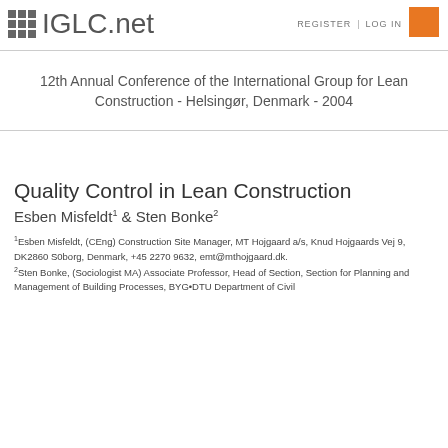IGLC.net | REGISTER | LOG IN
12th Annual Conference of the International Group for Lean Construction - Helsingør, Denmark - 2004
Quality Control in Lean Construction
Esben Misfeldt1 & Sten Bonke2
1Esben Misfeldt, (CEng) Construction Site Manager, MT Hojgaard a/s, Knud Hojgaards Vej 9, DK2860 S0borg, Denmark, +45 2270 9632, emt@mthojgaard.dk. 2Sten Bonke, (Sociologist MA) Associate Professor, Head of Section, Section for Planning and Management of Building Processes, BYG•DTU Department of Civil